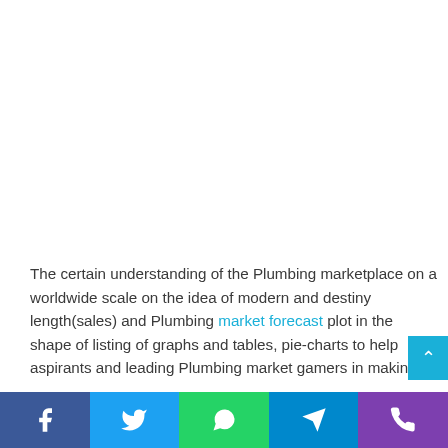The certain understanding of the Plumbing marketplace on a worldwide scale on the idea of modern and destiny length(sales) and Plumbing market forecast plot in the shape of listing of graphs and tables, pie-charts to help aspirants and leading Plumbing market gamers in making
Facebook | Twitter | WhatsApp | Telegram | Phone